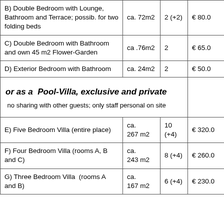| Room Type | Size | Persons | Price |
| --- | --- | --- | --- |
| B)  Double Bedroom with Lounge, Bathroom and Terrace; possib. for two folding beds | ca. 72m2 | 2 (+2) | € 80.0 |
| C)  Double Bedroom with Bathroom and own 45 m2 Flower-Garden | ca .76m2 | 2 | € 65.0 |
| D)  Exterior Bedroom with Bathroom | ca. 24m2 | 2 | € 50.0 |
| or as a  Pool-Villa, exclusive and private
no sharing with other guests; only staff personal on site |  |  |  |
| E)  Five Bedroom Villa (entire place) | ca. 267 m2 | 10 (+4) | € 320.0 |
| F)  Four Bedroom Villa (rooms A, B and C) | ca. 243 m2 | 8 (+4) | € 260.0 |
| G)  Three Bedroom Villa  (rooms A and B) | ca. 167 m2 | 6 (+4) | € 230.0 |